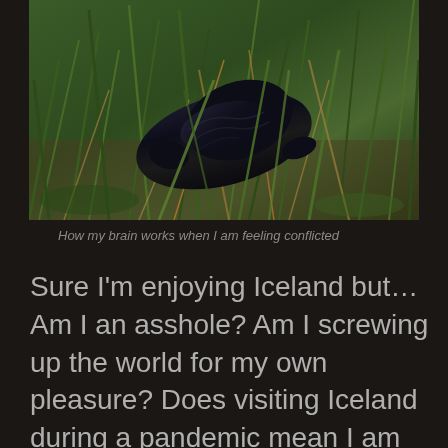[Figure (photo): Close-up photo of a large black slug resting on green grass and dried stems, in a naturalistic outdoor setting.]
How my brain works when I am feeling conflicted
Sure I'm enjoying Iceland but…Am I an asshole? Am I screwing up the world for my own pleasure? Does visiting Iceland during a pandemic mean I am an anti-masking, conspiracy-theorizing, science-denying dick?  Will I have to throw away